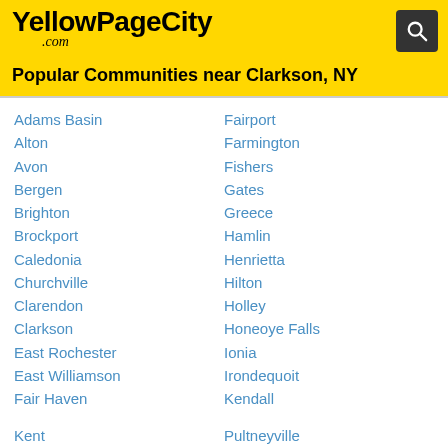[Figure (logo): YellowPageCity.com logo with search icon on yellow background]
Popular Communities near Clarkson, NY
Adams Basin
Alton
Avon
Bergen
Brighton
Brockport
Caledonia
Churchville
Clarendon
Clarkson
East Rochester
East Williamson
Fair Haven
Kent
Lima
Livonia
Manchester
Mendon
Fairport
Farmington
Fishers
Gates
Greece
Hamlin
Henrietta
Hilton
Holley
Honeoye Falls
Ionia
Irondequoit
Kendall
Pultneyville
Rose
Rush
Scottsville
Spencerport